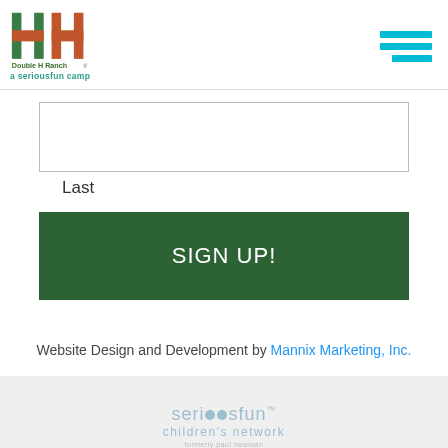[Figure (logo): Double H Ranch logo with two stylized H letters in orange-brown and green, with text 'Double H Ranch' and tagline 'a seriousfun camp']
[Figure (other): Hamburger menu icon with three cyan/teal horizontal lines]
[Figure (other): Empty text input field for Last name]
Last
[Figure (other): Green SIGN UP! button]
Website Design and Development by Mannix Marketing, Inc.
[Figure (logo): SeriousFun Children's Network logo in light blue/teal]